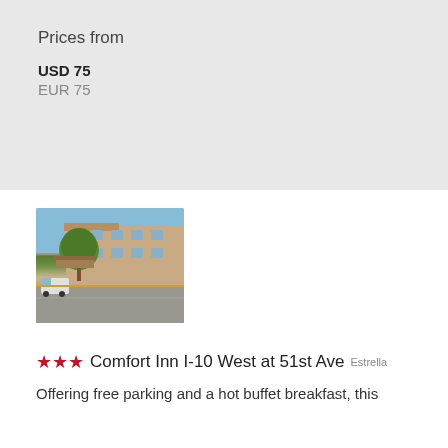Prices from
USD 75
EUR 75
[Figure (photo): Exterior photo of a hotel building with a tree in front and a parking area]
★★★ Comfort Inn I-10 West at 51st Ave Estrella
Offering free parking and a hot buffet breakfast, this